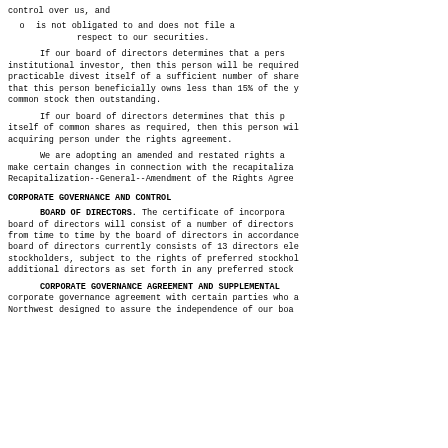control over us, and
o    is not obligated to and does not file a respect to our securities.
If our board of directors determines that a pers institutional investor, then this person will be required practicable divest itself of a sufficient number of share that this person beneficially owns less than 15% of the y common stock then outstanding.
If our board of directors determines that this p itself of common shares as required, then this person wi acquiring person under the rights agreement.
We are adopting an amended and restated rights a make certain changes in connection with the recapitaliza Recapitalization--General--Amendment of the Rights Agree
CORPORATE GOVERNANCE AND CONTROL
BOARD OF DIRECTORS. The certificate of incorpora board of directors will consist of a number of directors from time to time by the board of directors in accordance board of directors currently consists of 13 directors ele stockholders, subject to the rights of preferred stockhol additional directors as set forth in any preferred stock
CORPORATE GOVERNANCE AGREEMENT AND SUPPLEMENTAL corporate governance agreement with certain parties who a Northwest designed to assure the independence of our boa